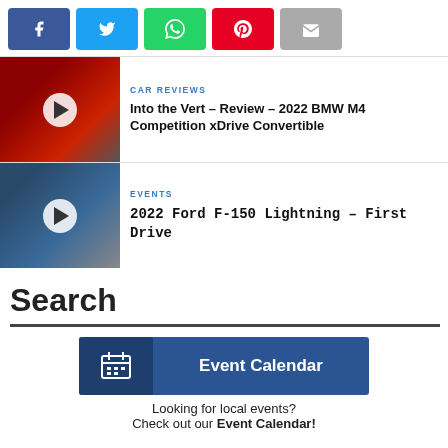[Figure (other): Social share buttons row: Facebook (blue), Twitter (light blue), WhatsApp (green), Pinterest (red), Email (gray)]
[Figure (photo): Red BMW M4 car thumbnail with video play button overlay]
CAR REVIEWS
Into the Vert – Review – 2022 BMW M4 Competition xDrive Convertible
[Figure (photo): Ford F-150 Lightning truck at event with video play button overlay]
EVENTS
2022 Ford F-150 Lightning – First Drive
Search
[Figure (other): Event Calendar banner button with calendar icon]
Looking for local events? Check out our Event Calendar!